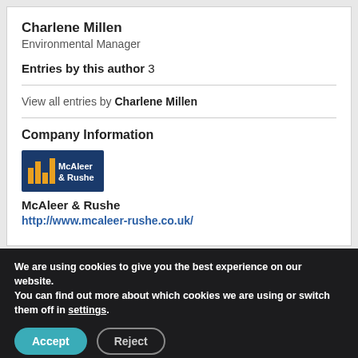Charlene Millen
Environmental Manager
Entries by this author 3
View all entries by Charlene Millen
Company Information
[Figure (logo): McAleer & Rushe company logo on dark blue background with orange bar chart icon]
McAleer & Rushe
http://www.mcaleer-rushe.co.uk/
We are using cookies to give you the best experience on our website.
You can find out more about which cookies we are using or switch them off in settings.
Accept
Reject